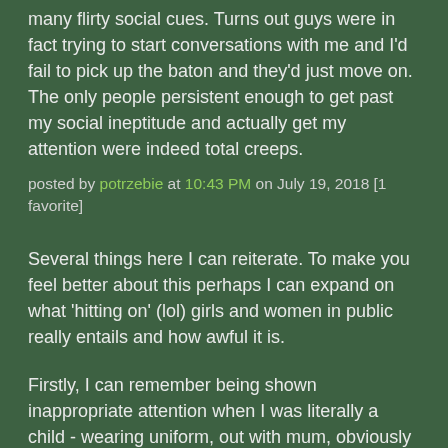many flirty social cues. Turns out guys were in fact trying to start conversations with me and I'd fail to pick up the baton and they'd just move on. The only people persistent enough to get past my social ineptitude and actually get my attention were indeed total creeps.
posted by potrzebie at 10:43 PM on July 19, 2018 [1 favorite]
Several things here I can reiterate. To make you feel better about this perhaps I can expand on what 'hitting on' (lol) girls and women in public really entails and how awful it is.
Firstly, I can remember being shown inappropriate attention when I was literally a child - wearing uniform, out with mum, obviously not more than 10. I agree this is not about being attractive but seen as easy prey. While I do think there are more paedophiles around than people think, a lot of that was about exerting power and dominance, getting perverse